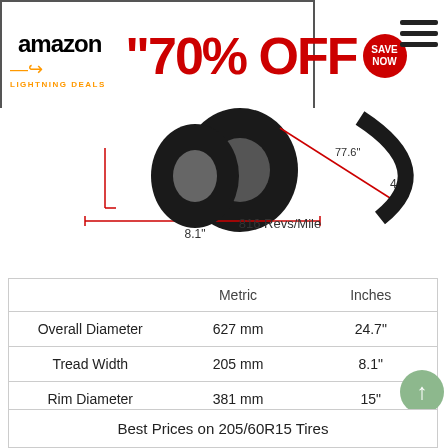[Figure (other): Amazon Lightning Deals advertisement banner showing 70% OFF and SAVE NOW badge]
[Figure (engineering-diagram): Tire cross-section diagram showing dimensions: 77.6 inch circumference, 4.8 inch sidewall height, 8.1 inch tread width, with label 816 Revs/Mile]
|  | Metric | Inches |
| --- | --- | --- |
| Overall Diameter | 627 mm | 24.7" |
| Tread Width | 205 mm | 8.1" |
| Rim Diameter | 381 mm | 15" |
| Sidewall Height | 123 mm | 4.8" |
| Circumference | 1969 mm | 77.6" |
| Revolutions | 508 per km | 816 per mile |
Best Prices on 205/60R15 Tires